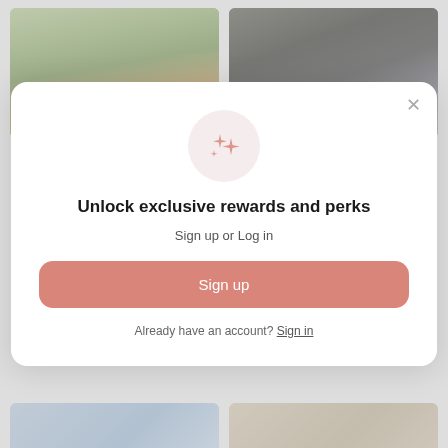[Figure (photo): Product image of Lennon Sea Green Plaid Flannel Shacket with shopping bag icon]
Lennon Sea Green Plaid Flannel Shacket
[Figure (photo): Product image of Zoey Classic Washed Black Semi-Fitted Denim Jacket with shopping bag icon]
Zoey Classic Washed Black Semi-Fitted Denim Jacket
[Figure (infographic): Modal popup with sparkle icon, unlock rewards message, sign up and log in options]
Unlock exclusive rewards and perks
Sign up or Log in
Sign up
Already have an account? Sign in